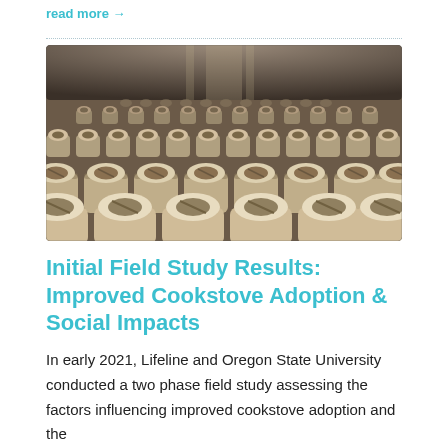read more →
[Figure (photo): Large indoor warehouse filled with rows and rows of ceramic cookstove liners/combustion chambers arranged in a grid pattern, viewed from a low angle perspective showing the vast quantity extending to the back of the building.]
Initial Field Study Results: Improved Cookstove Adoption & Social Impacts
In early 2021, Lifeline and Oregon State University conducted a two phase field study assessing the factors influencing improved cookstove adoption and the